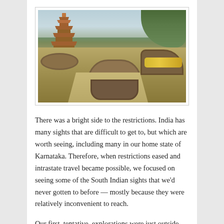[Figure (photo): Outdoor garden scene with a multi-tiered pagoda tower on the left, green trees in the background, circular raised garden beds with plants and yellow flowers, a curved stone bench, and a walking path.]
There was a bright side to the restrictions. India has many sights that are difficult to get to, but which are worth seeing, including many in our home state of Karnataka. Therefore, when restrictions eased and intrastate travel became possible, we focused on seeing some of the South Indian sights that we'd never gotten to before — mostly because they were relatively inconvenient to reach.
Our first, tentative, explorations were just outside